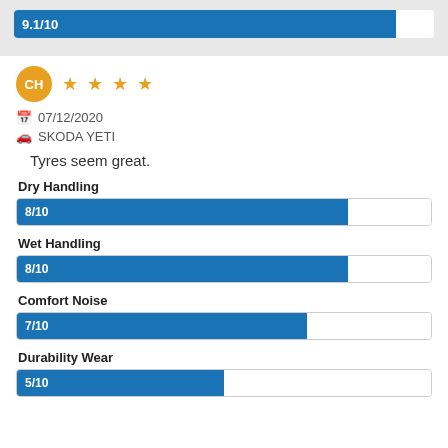[Figure (bar-chart): Overall Score]
CH ★★★★
07/12/2020
SKODA YETI
Tyres seem great.
Dry Handling
[Figure (bar-chart): Dry Handling]
Wet Handling
[Figure (bar-chart): Wet Handling]
Comfort Noise
[Figure (bar-chart): Comfort Noise]
Durability Wear
[Figure (bar-chart): Durability Wear]